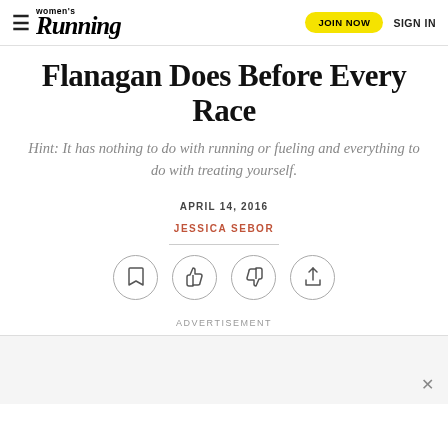Women's Running — JOIN NOW  SIGN IN
Flanagan Does Before Every Race
Hint: It has nothing to do with running or fueling and everything to do with treating yourself.
APRIL 14, 2016
JESSICA SEBOR
[Figure (infographic): Four circular icon buttons: bookmark, thumbs up, thumbs down, share]
ADVERTISEMENT